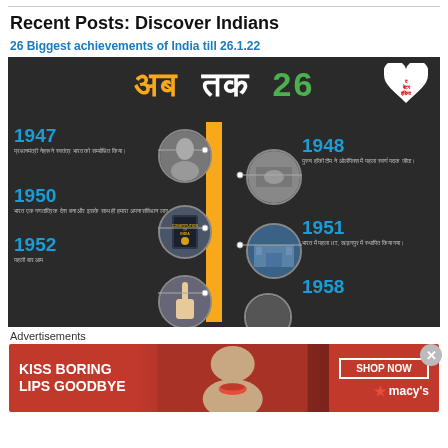Recent Posts: Discover Indians
26 Biggest achievements of India till 26.1.22
[Figure (infographic): Infographic titled 'अब तक 26' on dark background showing a timeline of India's achievements: 1947 - Prime Minister Nehru addressed independent India, 1948 - Indian hockey team won first gold medal at Olympics, 1950 - India became a democratic country and its constitution was enacted, 1951 - First IIT established in Kharagpur, 1952 - First time public voted, 1958 - (visible year). Features circular photos of Nehru, Constitution book, a hand voting, and historic photos on the right side.]
Advertisements
[Figure (infographic): Advertisement banner for Macy's with text 'KISS BORING LIPS GOODBYE' and 'SHOP NOW' button with Macy's star logo]